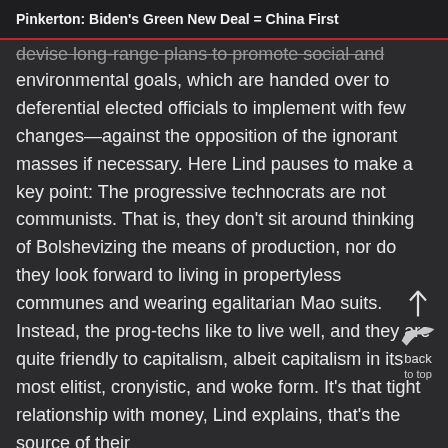Pinkerton: Biden's Green New Deal = China First
devise long-range plans to promote social and environmental goals, which are handed over to deferential elected officials to implement with few changes—against the opposition of the ignorant masses if necessary. Here Lind pauses to make a key point: The progressive technocrats are not communists. That is, they don't sit around thinking of Bolshevizing the means of production, nor do they look forward to living in propertyless communes and wearing egalitarian Mao suits. Instead, the prog-techs like to live well, and they are quite friendly to capitalism, albeit capitalism in its most elitist, cronyistic, and woke form. It's that tight relationship with money, Lind explains, that's the source of their